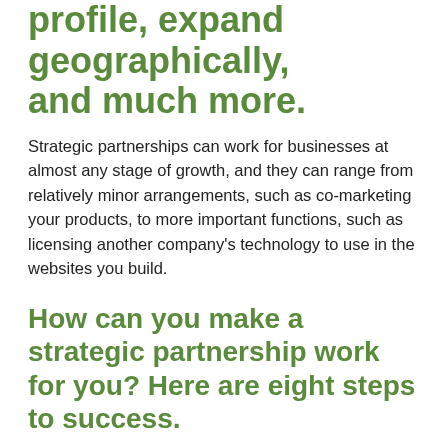profile, expand geographically, and much more.
Strategic partnerships can work for businesses at almost any stage of growth, and they can range from relatively minor arrangements, such as co-marketing your products, to more important functions, such as licensing another company's technology to use in the websites you build.
How can you make a strategic partnership work for you? Here are eight steps to success.
Get your house in order. Before you even think about forming a strategic partnership, your business finances, employees, systems, and